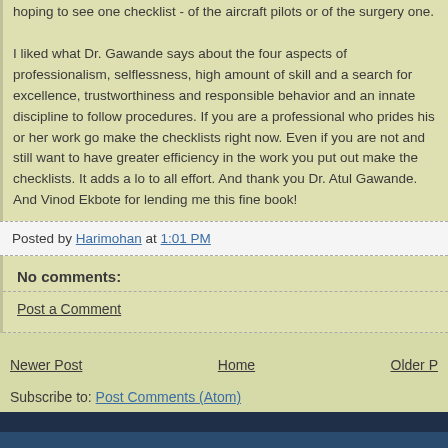hoping to see one checklist - of the aircraft pilots or of the surgery one. I liked what Dr. Gawande says about the four aspects of professionalism, selflessness, high amount of skill and a search for excellence, trustworthiness and responsible behavior and an innate discipline to follow procedures. If you are a professional who prides his or her work go make the checklists right now. Even if you are not and still want to have greater efficiency in the work you put out make the checklists. It adds a lot to all effort. And thank you Dr. Atul Gawande. And Vinod Ekbote for lending me this fine book!
Posted by Harimohan at 1:01 PM
No comments:
Post a Comment
Newer Post | Home | Older P
Subscribe to: Post Comments (Atom)